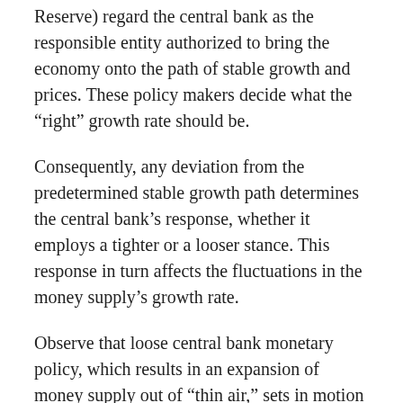Reserve) regard the central bank as the responsible entity authorized to bring the economy onto the path of stable growth and prices. These policy makers decide what the “right” growth rate should be.
Consequently, any deviation from the predetermined stable growth path determines the central bank’s response, whether it employs a tighter or a looser stance. This response in turn affects the fluctuations in the money supply’s growth rate.
Observe that loose central bank monetary policy, which results in an expansion of money supply out of “thin air,” sets in motion an exchange of nothing for something, which amounts to a diversion of savings from wealth-generating activities to non-wealth-generating activities.
Loose monetary policy produces the same outcome as the counterfeiter does. Its diversion of savings weakens wealth generators and thus their ability to grow the overall pool of